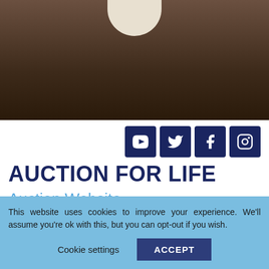[Figure (photo): Hero photo showing dark brown background with a white cylindrical roll/scroll object at the top center]
AUCTION FOR LIFE
Auction Website
Celebrating What’s Possible
Who is Team Type 1?
This website uses cookies to improve your experience. We'll assume you're ok with this, but you can opt-out if you wish.
Cookie settings   ACCEPT